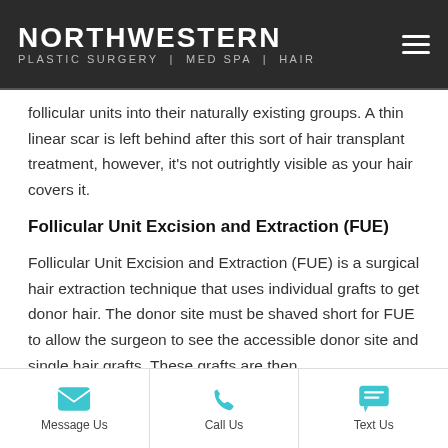NORTHWESTERN PLASTIC SURGERY | MED SPA | HAIR
follicular units into their naturally existing groups. A thin linear scar is left behind after this sort of hair transplant treatment, however, it's not outrightly visible as your hair covers it.
Follicular Unit Excision and Extraction (FUE)
Follicular Unit Excision and Extraction (FUE) is a surgical hair extraction technique that uses individual grafts to get donor hair. The donor site must be shaved short for FUE to allow the surgeon to see the accessible donor site and single hair grafts. These grafts are then
Message Us | Call Us | Text Us